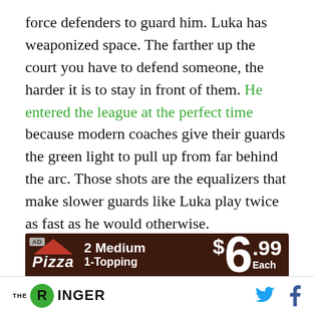force defenders to guard him. Luka has weaponized space. The farther up the court you have to defend someone, the harder it is to stay in front of them. He entered the league at the perfect time because modern coaches give their guards the green light to pull up from far behind the arc. Those shots are the equalizers that make slower guards like Luka play twice as fast as he would otherwise.
[Figure (other): Pizza Hut advertisement banner showing red pizza hut logo, text '2 Medium Pizza 1-Topping $6.99 Each' on a dark brick background]
THE RINGER [logo] [Twitter icon] [Facebook icon]